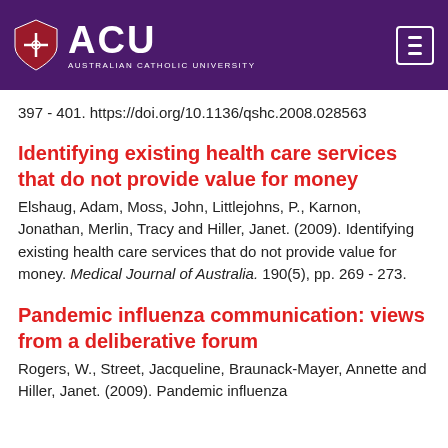[Figure (logo): ACU Australian Catholic University logo with shield on purple header background and hamburger menu icon]
397 - 401. https://doi.org/10.1136/qshc.2008.028563
Identifying existing health care services that do not provide value for money
Elshaug, Adam, Moss, John, Littlejohns, P., Karnon, Jonathan, Merlin, Tracy and Hiller, Janet. (2009). Identifying existing health care services that do not provide value for money. Medical Journal of Australia. 190(5), pp. 269 - 273.
Pandemic influenza communication: views from a deliberative forum
Rogers, W., Street, Jacqueline, Braunack-Mayer, Annette and Hiller, Janet. (2009). Pandemic influenza